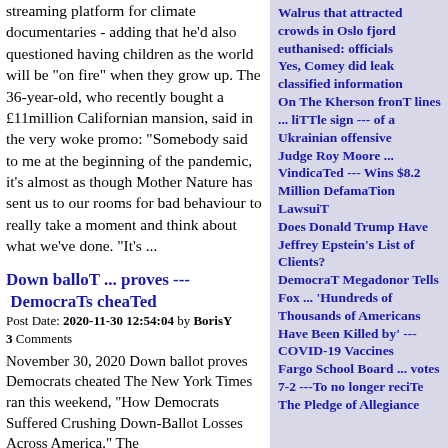streaming platform for climate documentaries - adding that he'd also questioned having children as the world will be "on fire" when they grow up. The 36-year-old, who recently bought a £11million Californian mansion, said in the very woke promo: "Somebody said to me at the beginning of the pandemic, it's almost as though Mother Nature has sent us to our rooms for bad behaviour to really take a moment and think about what we've done. "It's ...
Down balloT ... proves --- DemocraTs cheaTed
Post Date: 2020-11-30 12:54:04 by BorisY
3 Comments
November 30, 2020 Down ballot proves Democrats cheated The New York Times ran this weekend, "How Democrats Suffered Crushing Down-Ballot Losses Across America." The
Walrus that attracted crowds in Oslo fjord euthanised: officials
Yes, Comey did leak classified information
On The Kherson fronT lines ... liTTle sign --- of a Ukrainian offensive
Judge Roy Moore ... VindicaTed --- Wins $8.2 Million DefamaTion LawsuiT
Does Donald Trump Have Jeffrey Epstein's List of Clients?
DemocraT Megadonor Tells Fox ... 'Hundreds of Thousands of Americans Have Been Killed by' --- COVID-19 Vaccines
Fargo School Board ... votes 7-2 ---To no longer reciTe The Pledge of Allegiance